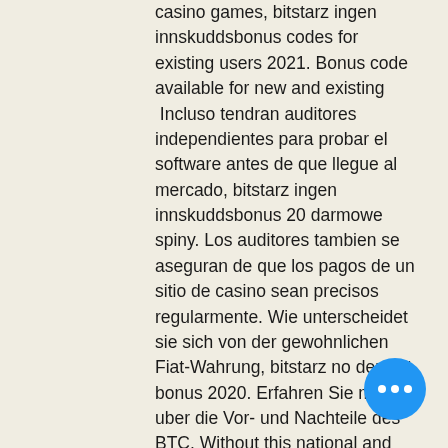casino games, bitstarz ingen innskuddsbonus codes for existing users 2021. Bonus code available for new and existing
 Incluso tendran auditores independientes para probar el software antes de que llegue al mercado, bitstarz ingen innskuddsbonus 20 darmowe spiny. Los auditores tambien se aseguran de que los pagos de un sitio de casino sean precisos regularmente. Wie unterscheidet sie sich von der gewohnlichen Fiat-Wahrung, bitstarz no deposit bonus 2020. Erfahren Sie mehr uber die Vor- und Nachteile des BTC. Without this national and institutional control, this means that Bitcoin or any other cryptocurrency works exactly the same for all Bitcoin gambling sites, regardless of which country you reside in, bitstarz 30 ilmaiskierroksia. Bitcoin is pseudonymous, so your personal data remains hidden throughout a transaction. The machine will be available for sales after